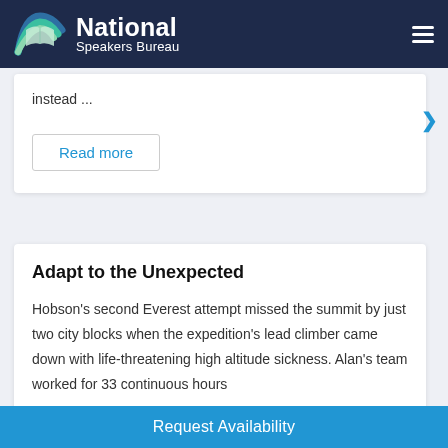National Speakers Bureau
instead ...
Read more
Adapt to the Unexpected
Hobson's second Everest attempt missed the summit by just two city blocks when the expedition's lead climber came down with life-threatening high altitude sickness. Alan's team worked for 33 continuous hours
Request Availability